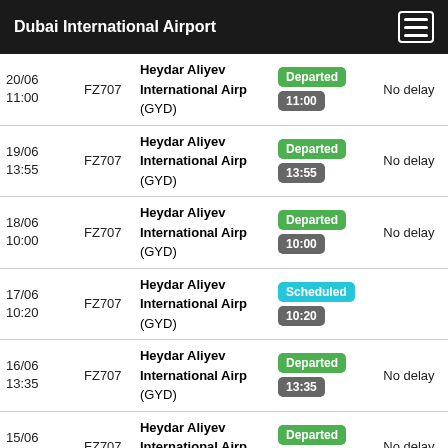Dubai International Airport
| Date/Time | Flight | Destination | Status | Delay |
| --- | --- | --- | --- | --- |
| 20/06 11:00 | FZ707 | Heydar Aliyev International Airp (GYD) | Departed 11:00 | No delay |
| 19/06 13:55 | FZ707 | Heydar Aliyev International Airp (GYD) | Departed 13:55 | No delay |
| 18/06 10:00 | FZ707 | Heydar Aliyev International Airp (GYD) | Departed 10:00 | No delay |
| 17/06 10:20 | FZ707 | Heydar Aliyev International Airp (GYD) | Scheduled 10:20 |  |
| 16/06 13:35 | FZ707 | Heydar Aliyev International Airp (GYD) | Departed 13:35 | No delay |
| 15/06 11:00 | FZ707 | Heydar Aliyev International Airp (GYD) | Departed 11:00 | No delay |
| 14/06 | FZ707 | Heydar Aliyev International Airp (GYD) | Departed | No delay |